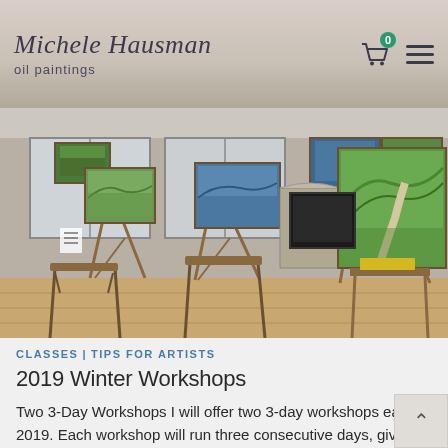Michele Hausman oil paintings
[Figure (photo): Art studio interior with multiple easels displaying landscape oil paintings, wooden floors, and natural light from windows]
CLASSES | TIPS FOR ARTISTS
2019 Winter Workshops
Two 3-Day Workshops I will offer two 3-day workshops early in 2019. Each workshop will run three consecutive days, giving the artist scholars the opportunity to immerse themselves in the study of form and color, to feel the